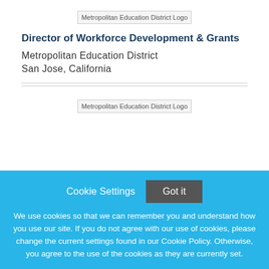[Figure (logo): Metropolitan Education District Logo (top)]
Director of Workforce Development & Grants
Metropolitan Education District
San Jose, California
[Figure (logo): Metropolitan Education District Logo (second)]
Cookie Settings  Got it

We use cookies so that we can remember you and understand how you use our site. If you do not agree with our use of cookies, please change the current settings found in our Cookie Policy. Otherwise, you agree to the use of the cookies as they are currently set.